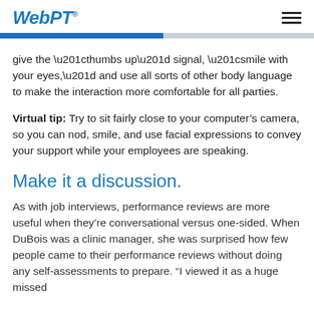WebPT
give the “thumbs up” signal, “smile with your eyes,” and use all sorts of other body language to make the interaction more comfortable for all parties.
Virtual tip: Try to sit fairly close to your computer’s camera, so you can nod, smile, and use facial expressions to convey your support while your employees are speaking.
Make it a discussion.
As with job interviews, performance reviews are more useful when they’re conversational versus one-sided. When DuBois was a clinic manager, she was surprised how few people came to their performance reviews without doing any self-assessments to prepare. “I viewed it as a huge missed